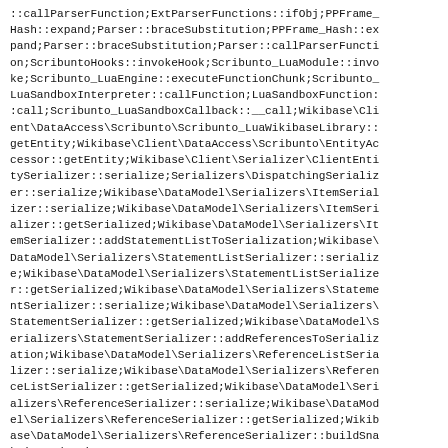::callParserFunction;ExtParserFunctions::ifObj;PPFrame_Hash::expand;Parser::braceSubstitution;PPFrame_Hash::expand;Parser::braceSubstitution;Parser::callParserFunction;ScribuntoHooks::invokeHook;Scribunto_LuaModule::invoke;Scribunto_LuaEngine::executeFunctionChunk;Scribunto_LuaSandboxInterpreter::callFunction;LuaSandboxFunction::call;Scribunto_LuaSandboxCallback::__call;Wikibase\Client\DataAccess\Scribunto\Scribunto_LuaWikibaseLibrary::getEntity;Wikibase\Client\DataAccess\Scribunto\EntityAccessor::getEntity;Wikibase\Client\Serializer\ClientEntitySerializer::serialize;Serializers\DispatchingSerializer::serialize;Wikibase\DataModel\Serializers\ItemSerializer::serialize;Wikibase\DataModel\Serializers\ItemSerializer::getSerialized;Wikibase\DataModel\Serializers\ItemSerializer::addStatementListToSerialization;Wikibase\DataModel\Serializers\StatementListSerializer::serialize;Wikibase\DataModel\Serializers\StatementListSerializer::getSerialized;Wikibase\DataModel\Serializers\StatementSerializer::serialize;Wikibase\DataModel\Serializers\StatementSerializer::getSerialized;Wikibase\DataModel\Serializers\StatementSerializer::addReferencesToSerialization;Wikibase\DataModel\Serializers\ReferenceListSerializer::serialize;Wikibase\DataModel\Serializers\ReferenceListSerializer::getSerialized;Wikibase\DataModel\Serializers\ReferenceSerializer::serialize;Wikibase\DataModel\Serializers\ReferenceSerializer::getSerialized;Wikibase\DataModel\Serializers\ReferenceSerializer::buildSnakListOrderList 1
1
index.php;